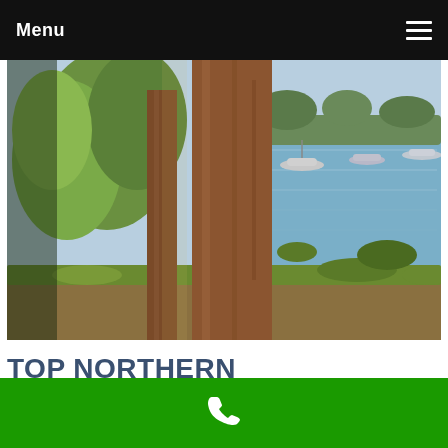Menu
[Figure (photo): Outdoor lakeside scene viewed through trees. A large tree trunk dominates the center-left foreground with lush green foliage. In the background, a calm blue lake or bay is visible with several small boats moored on the water. The shoreline has green and golden grassy vegetation.]
TOP NORTHERN BOATING DESTINATIONS
April 24, 2021  admin  Blog Post  Leave a comment